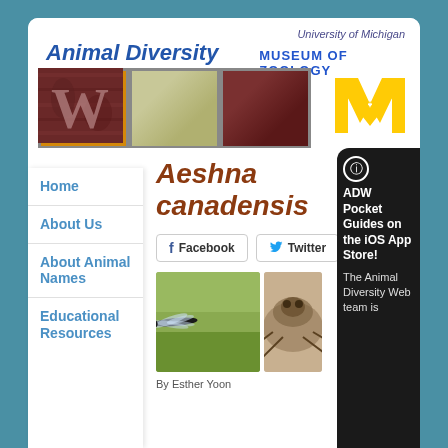[Figure (logo): Animal Diversity Web logo with ADW letters made from animal textures, University of Michigan Museum of Zoology header, and block M logo]
Home
About Us
About Animal Names
Educational Resources
Aeshna canadensis
[Figure (other): Facebook and Twitter share buttons]
[Figure (photo): Two photos of Aeshna canadensis dragonfly]
By Esther Yoon
ADW Pocket Guides on the iOS App Store!
The Animal Diversity Web team is